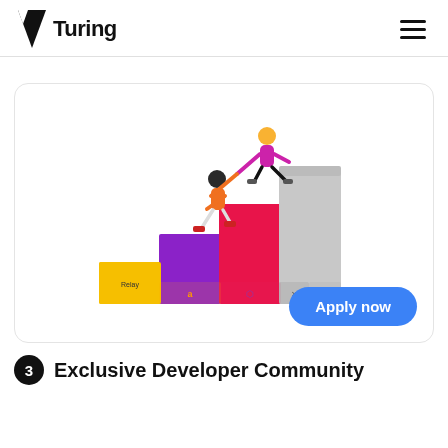Turing
[Figure (illustration): Two figures climbing colorful staircase blocks (yellow, purple, red, gray) with company logos at the base. One figure helps the other up. An 'Apply now' blue button in the bottom right corner of the card.]
3 Exclusive Developer Community